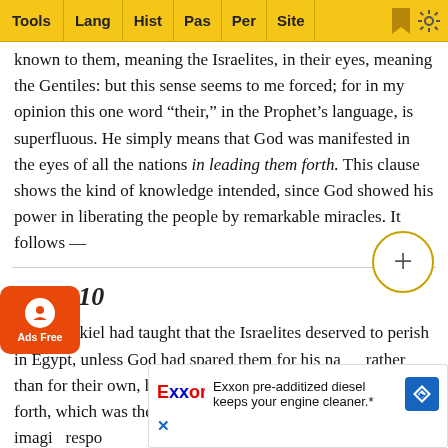Tools | Lang | Hist | Pas | Per | Site
known to them, meaning the Israelites, in their eyes, meaning the Gentiles: but this sense seems to me forced; for in my opinion this one word “their,” in the Prophet’s language, is superfluous. He simply means that God was manifested in the eyes of all the nations in leading them forth. This clause shows the kind of knowledge intended, since God showed his power in liberating the people by remarkable miracles. It follows —
Verse 10
After Ezekiel had taught that the Israelites deserved to perish in Egypt, unless God had spared them for his name rather than for their own, he now adds the cause of their coming forth, which was the promotion of his own glory. Hence imagin respo